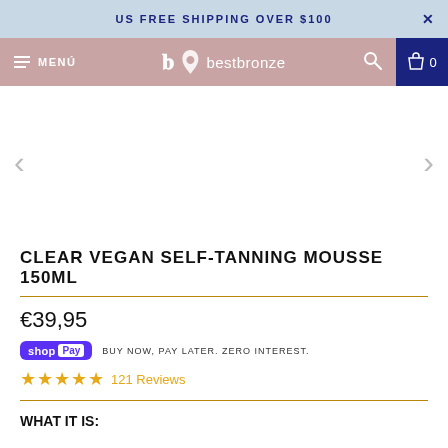US FREE SHIPPING OVER $100
[Figure (screenshot): Website navigation bar with hamburger menu labeled MENÚ, bestbronze logo in center, search icon and cart with 0 items on right]
[Figure (other): Product image carousel area with left and right navigation arrows, product image area empty/white]
CLEAR VEGAN SELF-TANNING MOUSSE 150ML
€39,95
shop Pay BUY NOW, PAY LATER. ZERO INTEREST.
★★★★★ 121 Reviews
WHAT IT IS: